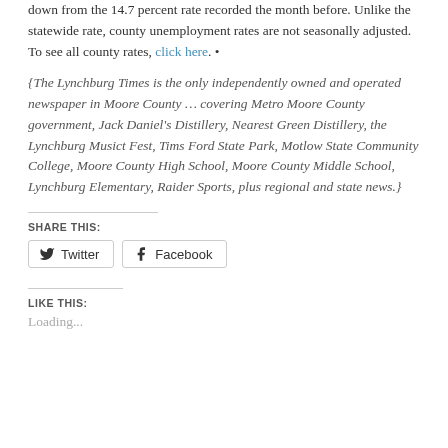down from the 14.7 percent rate recorded the month before. Unlike the statewide rate, county unemployment rates are not seasonally adjusted. To see all county rates, click here. •
{The Lynchburg Times is the only independently owned and operated newspaper in Moore County … covering Metro Moore County government, Jack Daniel's Distillery, Nearest Green Distillery, the Lynchburg Musict Fest, Tims Ford State Park, Motlow State Community College, Moore County High School, Moore County Middle School, Lynchburg Elementary, Raider Sports, plus regional and state news.}
SHARE THIS:
Twitter  Facebook
LIKE THIS:
Loading...